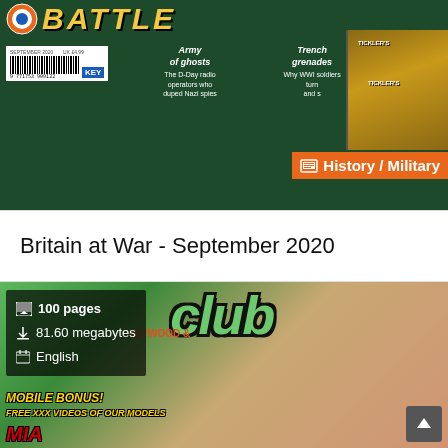[Figure (photo): Britain at War magazine cover showing BATTLE masthead with target roundel icon, barcode, army/trench articles, History/Military badge overlay, tins of Tickler's jam]
Britain at War - September 2020
[Figure (photo): Club magazine cover with green club logo, woman smiling, beer mug graphic, MOBILE BONUS! FREE XXX VIDEOS OF OUR MODELS text, MIA text at bottom]
100 pages
81.60 megabytes
English